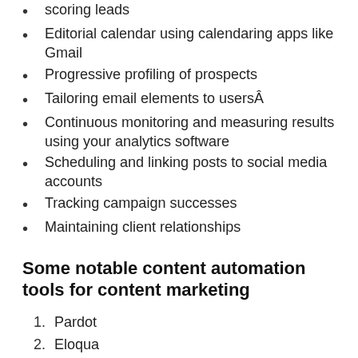Editorial calendar using calendaring apps like Gmail
Progressive profiling of prospects
Tailoring email elements to usersÂ
Continuous monitoring and measuring results using your analytics software
Scheduling and linking posts to social media accounts
Tracking campaign successes
Maintaining client relationships
Some notable content automation tools for content marketing
1. Pardot
2. Eloqua
3. Marketo
4. HubSpot